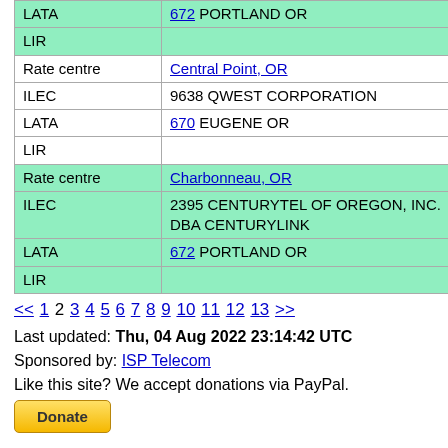| Label | Value |
| --- | --- |
| LATA | 672 PORTLAND OR |
| LIR |  |
| Rate centre | Central Point, OR |
| ILEC | 9638 QWEST CORPORATION |
| LATA | 670 EUGENE OR |
| LIR |  |
| Rate centre | Charbonneau, OR |
| ILEC | 2395 CENTURYTEL OF OREGON, INC. DBA CENTURYLINK |
| LATA | 672 PORTLAND OR |
| LIR |  |
<< 1 2 3 4 5 6 7 8 9 10 11 12 13 >>
Last updated: Thu, 04 Aug 2022 23:14:42 UTC
Sponsored by: ISP Telecom
Like this site? We accept donations via PayPal.
[Figure (other): PayPal Donate button]